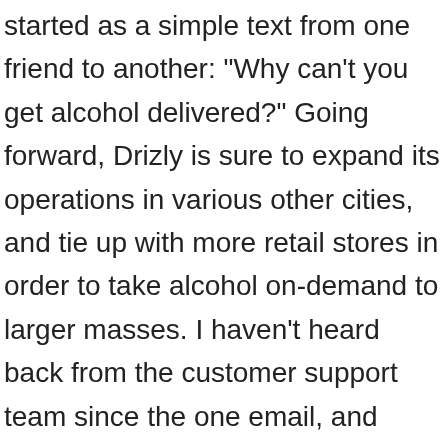started as a simple text from one friend to another: "Why can't you get alcohol delivered?" Going forward, Drizly is sure to expand its operations in various other cities, and tie up with more retail stores in order to take alcohol on-demand to larger masses. I haven't heard back from the customer support team since the one email, and there doesn't seem to be a phone support line (which, as a separate point, is crazy to me). Our customers trust us to be part of their lives – their celebrations, parties, dinners and quiet nights at home. Hi there, we're Drizly, North America's largest online marketplace for alcohol. [15], In each of its cities, Drizly partners with local retailers. We supply a lot of the orders within one hr. Drizly is an online alcohol delivery service that partners with more than 2,200 retailers across North America to send beer, wine, liquor and